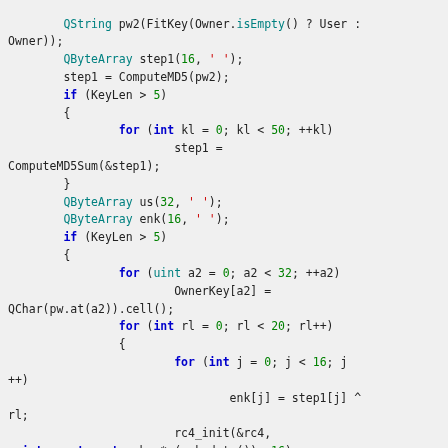[Figure (screenshot): Source code snippet in C++ showing password hashing and RC4 encryption logic with syntax highlighting. Keywords in blue, types in teal, numbers in green, strings in red.]